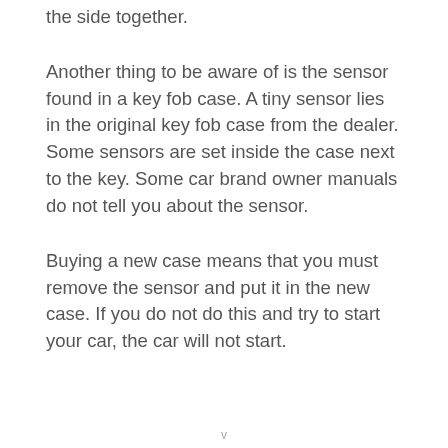the side together.
Another thing to be aware of is the sensor found in a key fob case. A tiny sensor lies in the original key fob case from the dealer. Some sensors are set inside the case next to the key. Some car brand owner manuals do not tell you about the sensor.
Buying a new case means that you must remove the sensor and put it in the new case. If you do not do this and try to start your car, the car will not start.